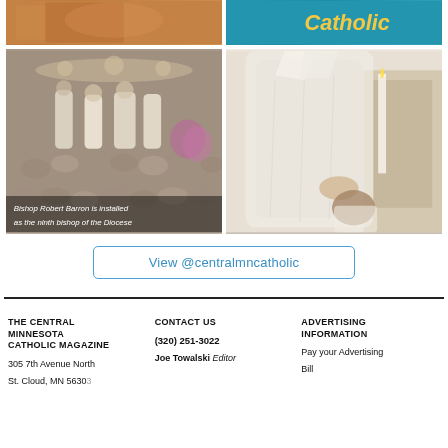[Figure (photo): Top-left photo: orange/golden toned image, appears to be a person in ceremonial robes]
[Figure (photo): Top-right photo: teal/blue background with text 'Catholic' in yellow italic font]
[Figure (photo): Bottom-left photo: Bishop Robert Barron installation ceremony with congregation, caption overlay reads 'Bishop Robert Barron is installed as the ninth bishop of the Diocese']
[Figure (photo): Bottom-right photo: A bishop in white vestments placing hands on a kneeling person's head]
View @centralmncatholic
THE CENTRAL MINNESOTA CATHOLIC MAGAZINE
305 7th Avenue North
St. Cloud, MN 56303
CONTACT US
(320) 251-3022
Joe Towalski, Editor
ADVERTISING INFORMATION
Pay your Advertising Bill